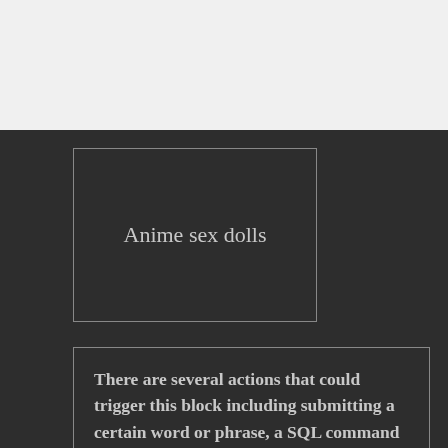[Figure (other): Light gray/white top bar area]
Anime sex dolls
There are several actions that could trigger this block including submitting a certain word or phrase, a SQL command or malformed data. Advertiser